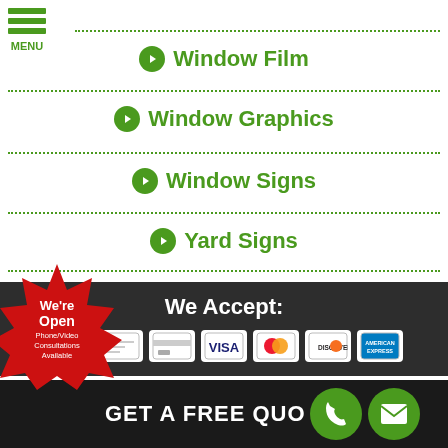Window Film
Window Graphics
Window Signs
Yard Signs
We Accept:
[Figure (infographic): Payment method icons: cash, check, credit card, VISA, Mastercard, Discover, American Express]
[Figure (infographic): Red starburst badge: We're Open - Phone/Video Consultations Available]
GET A FREE QUOTE